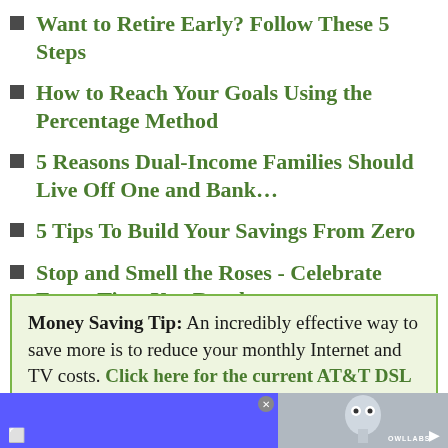Want to Retire Early? Follow These 5 Steps
How to Reach Your Goals Using the Percentage Method
5 Reasons Dual-Income Families Should Live Off One and Bank…
5 Tips To Build Your Savings From Zero
Stop and Smell the Roses - Celebrate Every Time You Reach…
Money Saving Tip: An incredibly effective way to save more is to reduce your monthly Internet and TV costs. Click here for the current AT&T DSL
[Figure (photo): Advertisement banner with owl-themed image (OWL LABS branding) on a blue background]